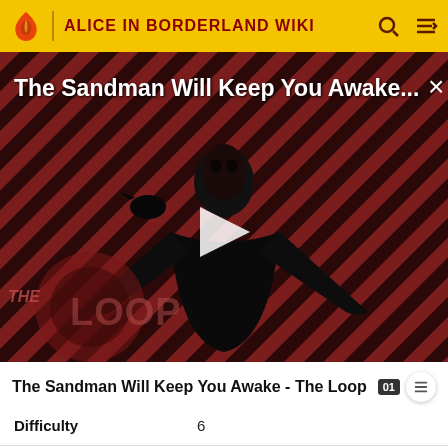ALICE IN BORDERLAND WIKI
[Figure (screenshot): Video thumbnail showing a dark figure in black robes against diagonal red and black striped background with THE LOOP watermark and play button overlay. Title overlay reads 'The Sandman Will Keep You Awake...']
The Sandman Will Keep You Awake - The Loop
| Difficulty | 6 |
| Category | Diamonds |
| Game Venue | Restaurant |